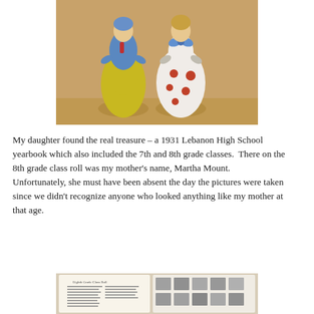[Figure (photo): Two ceramic figurines (salt and pepper shakers) on a wooden surface. Left figurine wears a blue top and yellow dress; right figurine wears a white dress with red polka dots and blue bow.]
My daughter found the real treasure – a 1931 Lebanon High School yearbook which also included the 7th and 8th grade classes.  There on the 8th grade class roll was my mother's name, Martha Mount.  Unfortunately, she must have been absent the day the pictures were taken since we didn't recognize anyone who looked anything like my mother at that age.
[Figure (photo): An open yearbook showing text on left page labeled 'Eighth Grade Class Roll' with names listed, and on the right page a grid of small black-and-white student portrait photographs.]